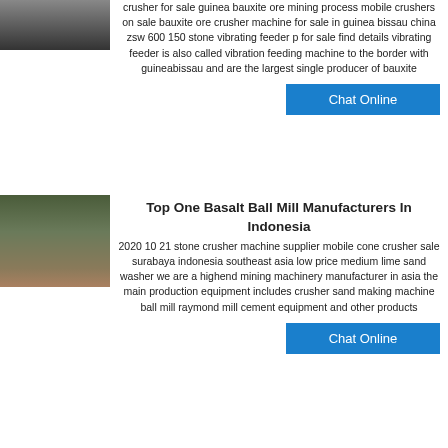[Figure (photo): Industrial machinery/crusher equipment photo at top left]
crusher for sale guinea bauxite ore mining process mobile crushers on sale bauxite ore crusher machine for sale in guinea bissau china zsw 600 150 stone vibrating feeder p for sale find details vibrating feeder is also called vibration feeding machine to the border with guineabissau and are the largest single producer of bauxite
Chat Online
[Figure (photo): Stone crusher plant/basalt ball mill equipment in outdoor setting]
Top One Basalt Ball Mill Manufacturers In Indonesia
2020 10 21 stone crusher machine supplier mobile cone crusher sale surabaya indonesia southeast asia low price medium lime sand washer we are a highend mining machinery manufacturer in asia the main production equipment includes crusher sand making machine ball mill raymond mill cement equipment and other products
Chat Online